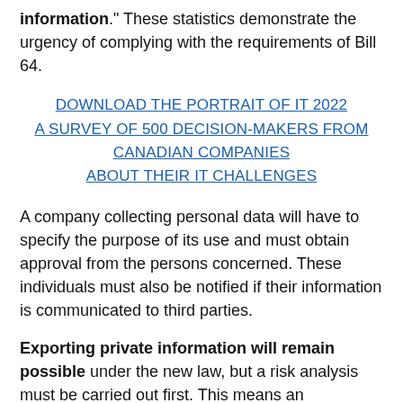information." These statistics demonstrate the urgency of complying with the requirements of Bill 64.
DOWNLOAD THE PORTRAIT OF IT 2022
A SURVEY OF 500 DECISION-MAKERS FROM CANADIAN COMPANIES ABOUT THEIR IT CHALLENGES
A company collecting personal data will have to specify the purpose of its use and must obtain approval from the persons concerned. These individuals must also be notified if their information is communicated to third parties.
Exporting private information will remain possible under the new law, but a risk analysis must be carried out first. This means an agreement has to be reached in all the States concerned - not countries – and this agreement must provide a "level of protection that meets globally recognized principles," a concept that is